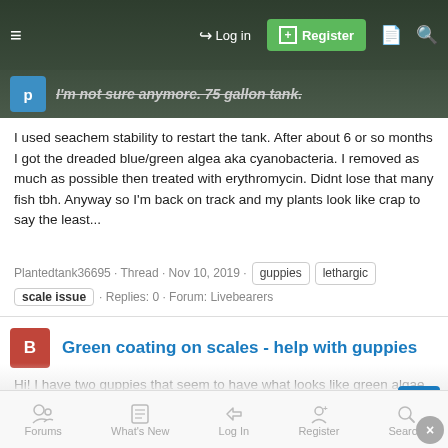← Log in | Register
I'm not sure anymore. 75 gallon tank.
I used seachem stability to restart the tank. After about 6 or so months I got the dreaded blue/green algea aka cyanobacteria. I removed as much as possible then treated with erythromycin. Didnt lose that many fish tbh. Anyway so I'm back on track and my plants look like crap to say the least...
Plantedtank36695 · Thread · Nov 10, 2019 · guppies · lethargic · scale issue · Replies: 0 · Forum: Livebearers
Green coating on scales - help with guppies
Hi! I have two guppies that seem to have what looks like green algae growing on their scales. One is acting normally, while one is sort of lethargic, hanging up in the corner. A third guppy has no green film but doesn't seem to be swimming well. Just seems weakened. W...
Forums | What's New | Log In | Register | Search